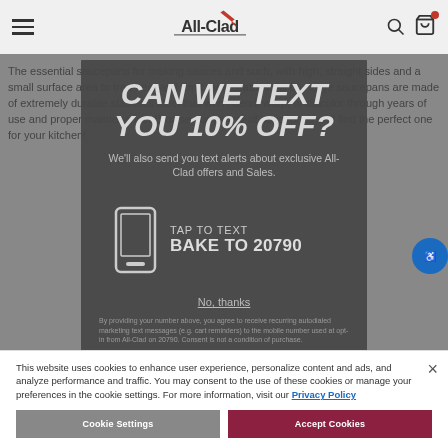[Figure (screenshot): All-Clad website navigation bar with hamburger menu, All-Clad logo, search and cart icons]
CAN WE TEXT YOU 10% OFF?
We'll also send you text alerts about exclusive All-Clad offers and Sales.
[Figure (infographic): SMS opt-in box showing phone icon and TAP TO TEXT | BAKE TO 20790]
No, thanks
By providing your number above, you agree to receive recurring autodialed marketing text messages (e.g. cart reminders) to the mobile number used at opt-in from All-Clad on 20790. Consent is not a condition of purchase.
This website uses cookies to enhance user experience, personalize content and ads, and analyze performance and traffic. You may consent to the use of these cookies or manage your preferences in the cookie settings. For more information, visit our Privacy Policy
Cookie Settings
Accept Cookies